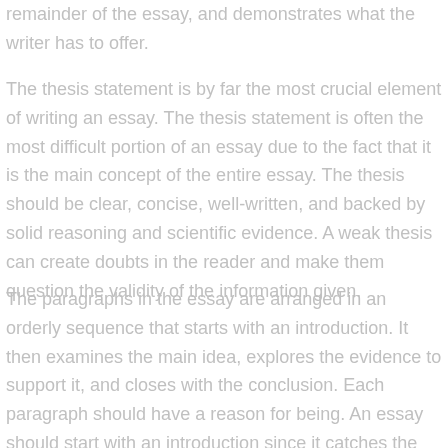remainder of the essay, and demonstrates what the writer has to offer.
The thesis statement is by far the most crucial element of writing an essay. The thesis statement is often the most difficult portion of an essay due to the fact that it is the main concept of the entire essay. The thesis should be clear, concise, well-written, and backed by solid reasoning and scientific evidence. A weak thesis can create doubts in the reader and make them question the validity of the information given.
The paragraphs in the essay are arranged in an orderly sequence that starts with an introduction. It then examines the main idea, explores the evidence to support it, and closes with the conclusion. Each paragraph should have a reason for being. An essay should start with an introduction since it catches the